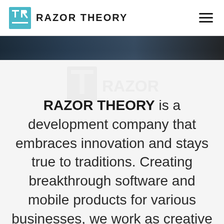RAZOR THEORY
[Figure (photo): Dark hero banner image strip showing a partial view of a car or dark surface, cropped at top of content area]
RAZOR THEORY is a development company that embraces innovation and stays true to traditions. Creating breakthrough software and mobile products for various businesses, we work as creative agency as well.